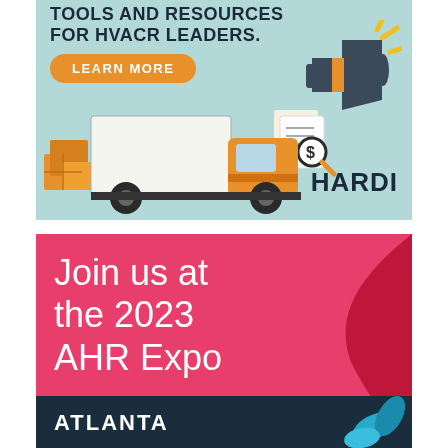[Figure (illustration): HARDI advertisement banner with light teal background. Bold text 'TOOLS AND RESOURCES FOR HVACR LEADERS.' at top, orange 'LEARN MORE' button, illustration of delivery truck with boxes, megaphone with yellow lines, document with magnifying glass showing dollar sign, and 'HARDI' logo text at bottom right.]
[Figure (illustration): 2023 AHR Expo advertisement. Hot pink/magenta background with white text 'Join us at the 2023 AHR Expo'. Red decorative swoosh on right side. Dark navy bar at bottom with 'ATLANTA' in bold white capital letters. Blue decorative flower/leaf motif at bottom right.]